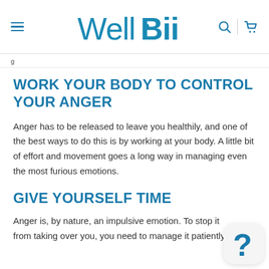WellBii
WORK YOUR BODY TO CONTROL YOUR ANGER
Anger has to be released to leave you healthily, and one of the best ways to do this is by working at your body. A little bit of effort and movement goes a long way in managing even the most furious emotions.
GIVE YOURSELF TIME
Anger is, by nature, an impulsive emotion. To stop it from taking over you, you need to manage it patiently